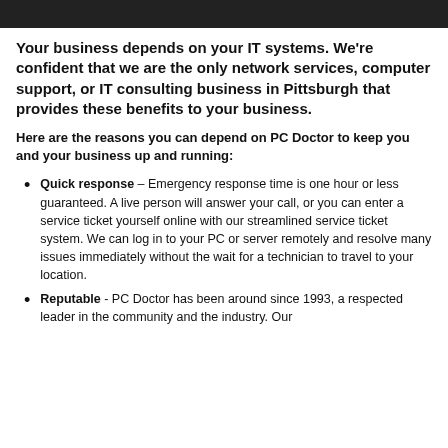Your business depends on your IT systems. We're confident that we are the only network services, computer support, or IT consulting business in Pittsburgh that provides these benefits to your business.
Here are the reasons you can depend on PC Doctor to keep you and your business up and running:
Quick response – Emergency response time is one hour or less guaranteed. A live person will answer your call, or you can enter a service ticket yourself online with our streamlined service ticket system. We can log in to your PC or server remotely and resolve many issues immediately without the wait for a technician to travel to your location.
Reputable - PC Doctor has been around since 1993, a respected leader in the community and the industry. Our